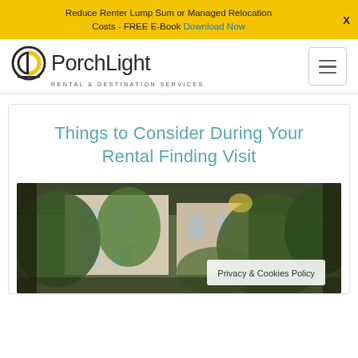Reduce Renter Lump Sum or Managed Relocation Costs - FREE E-Book Download Now
[Figure (logo): PorchLight Rental & Destination Services logo with circular icon]
Things to Consider During Your Rental Finding Visit
[Figure (photo): Exterior photo of a rental property with green trees and ivy-covered walls]
Privacy & Cookies Policy